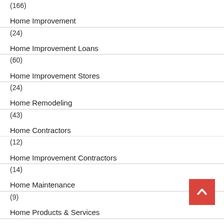(166)
Home Improvement
(24)
Home Improvement Loans
(60)
Home Improvement Stores
(24)
Home Remodeling
(43)
Home Contractors
(12)
Home Improvement Contractors
(14)
Home Maintenance
(9)
Home Products & Services